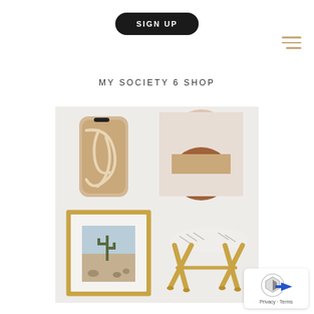[Figure (screenshot): Sign Up button - black rounded pill button with white text 'SIGN UP' in spaced caps]
[Figure (other): Hamburger menu icon - three horizontal tan/golden lines in top right corner]
MY SOCIETY 6 SHOP
[Figure (illustration): 2x2 product collage on light gray background: top-left phone case with tan abstract line art, top-right framed art print with geometric arch shapes in blush/tan/brown, bottom-left framed photo of desert cactus landscape with gold frame, bottom-right folding wooden stool with white patterned fabric top]
[Figure (other): Privacy/Terms widget in bottom right corner with circular icon showing arrow/shield graphic and blue arrow]
Privacy · Terms